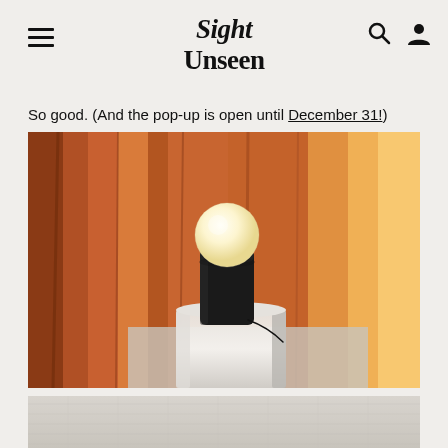Sight Unseen
So good. (And the pop-up is open until December 31!)
[Figure (photo): A minimalist black table lamp with a spherical white frosted globe sitting atop a rounded rectangular black base, placed on a white cylindrical pedestal against warm orange-amber draped curtains with dramatic side lighting.]
[Figure (photo): Bottom portion of another image, partially visible, showing a light gray linen or fabric texture background.]